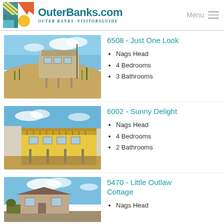OuterBanks.com Outer Banks Visitors Guide | Menu
6508 - Just One Look
[Figure (photo): Beach house on stilts with sandy dunes in front, blue sky background]
Nags Head
4 Bedrooms
3 Bathrooms
6002 - Sunny Delight
[Figure (photo): Yellow beach house with large deck, blue sky and sandy area]
Nags Head
4 Bedrooms
2 Bathrooms
5470 - Little Outlaw Cottage
[Figure (photo): Cottage near beach with blue sky]
Nags Head